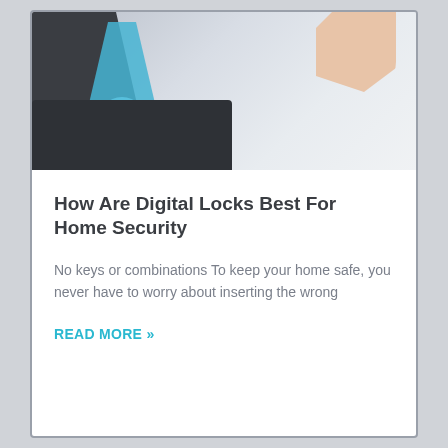[Figure (photo): Close-up photo of a digital smart lock device with a teal/blue fingerprint scanner, dark casing, and a hand in the background on a light surface.]
How Are Digital Locks Best For Home Security
No keys or combinations To keep your home safe, you never have to worry about inserting the wrong
READ MORE »